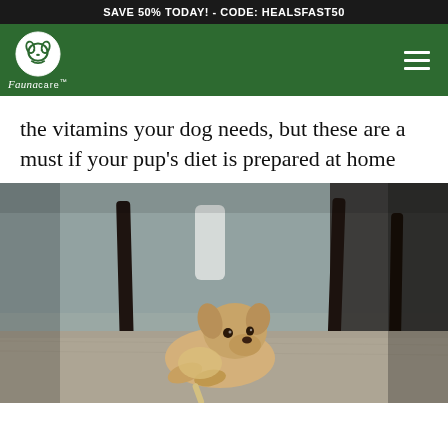SAVE 50% TODAY! - CODE: HEALSFAST50
[Figure (logo): Fauna Care logo — white circle with dog icon, green navigation bar with hamburger menu]
the vitamins your dog needs, but these are a must if your pup's diet is prepared at home
[Figure (photo): A small golden/tan puppy lying on a carpet, chewing on something, with blurred dark wooden furniture legs and a white cylindrical object in the background]